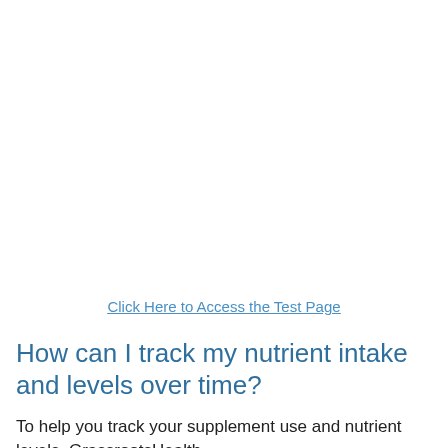Click Here to Access the Test Page
How can I track my nutrient intake and levels over time?
To help you track your supplement use and nutrient levels, GrassrootsHealth